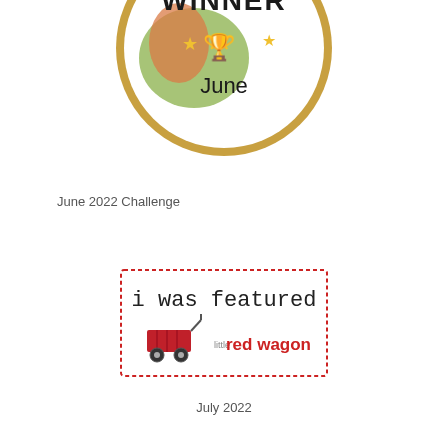[Figure (illustration): Winner badge circle with gold border, green and orange watercolor background, trophy icon with stars, text WINNER and June]
June 2022 Challenge
[Figure (illustration): I was featured badge with red dashed border, red wagon illustration, text reading 'i was featured little red wagon']
July 2022